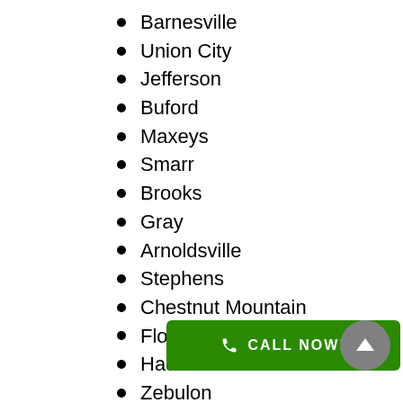Barnesville
Union City
Jefferson
Buford
Maxeys
Smarr
Brooks
Gray
Arnoldsville
Stephens
Chestnut Mountain
Flowery Branch
Haddock
Zebulon
Tyrone
[Figure (other): Green CALL NOW! button with phone icon and gray circular up-arrow button]